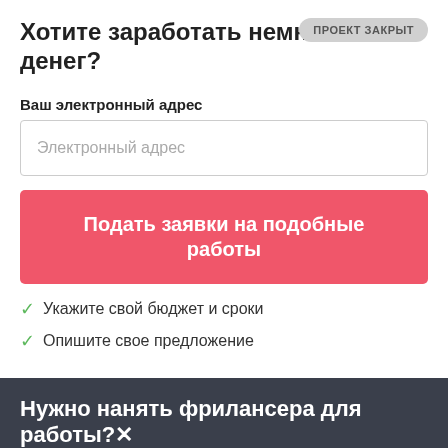Хотите заработать немного денег?
ПРОЕКТ ЗАКРЫТ
Ваш электронный адрес
Электронный адрес
Подать заявки на подобные работы
Укажите свой бюджет и сроки
Опишите свое предложение
Нужно нанять фрилансера для работы?
Опубликовать проект